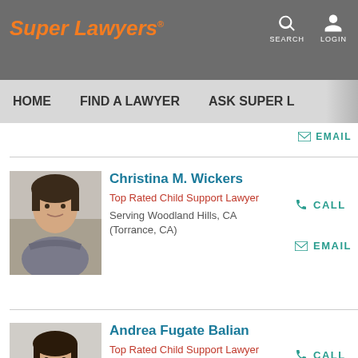Super Lawyers
HOME  FIND A LAWYER  ASK SUPER L
[Figure (photo): Headshot of Christina M. Wickers, a dark-haired woman with arms crossed, smiling]
Christina M. Wickers
Top Rated Child Support Lawyer
Serving Woodland Hills, CA (Torrance, CA)
[Figure (photo): Headshot of Andrea Fugate Balian, a woman with dark hair, smiling, wearing a dark jacket]
Andrea Fugate Balian
Top Rated Child Support Lawyer
Serving Woodland Hills, CA (Los Angeles, CA)
Visit Law Firm Profile »